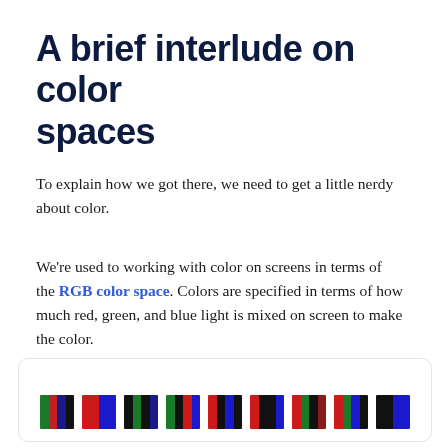A brief interlude on color spaces
To explain how we got there, we need to get a little nerdy about color.
We're used to working with color on screens in terms of the RGB color space. Colors are specified in terms of how much red, green, and blue light is mixed on screen to make the color.
[Figure (illustration): A card showing a row of small color strip images, each containing vertical bands of red, green, and blue in different arrangements.]